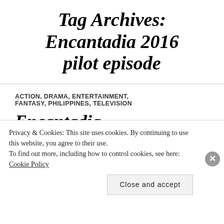Tag Archives: Encantadia 2016 pilot episode
ACTION, DRAMA, ENTERTAINMENT, FANTASY, PHILIPPINES, TELEVISION
Encantadia
Privacy & Cookies: This site uses cookies. By continuing to use this website, you agree to their use.
To find out more, including how to control cookies, see here: Cookie Policy
Close and accept